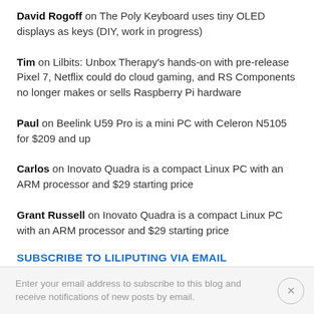David Rogoff on The Poly Keyboard uses tiny OLED displays as keys (DIY, work in progress)
Tim on Lilbits: Unbox Therapy's hands-on with pre-release Pixel 7, Netflix could do cloud gaming, and RS Components no longer makes or sells Raspberry Pi hardware
Paul on Beelink U59 Pro is a mini PC with Celeron N5105 for $209 and up
Carlos on Inovato Quadra is a compact Linux PC with an ARM processor and $29 starting price
Grant Russell on Inovato Quadra is a compact Linux PC with an ARM processor and $29 starting price
SUBSCRIBE TO LILIPUTING VIA EMAIL
Enter your email address to subscribe to this blog and receive notifications of new posts by email.